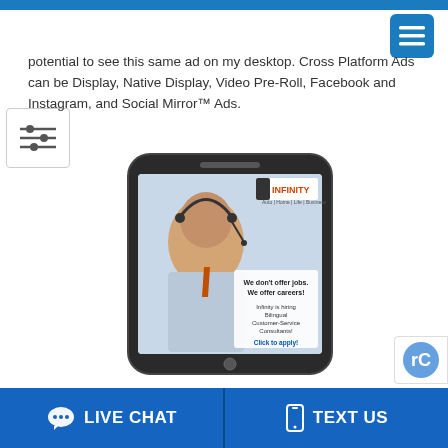potential to see this same ad on my desktop. Cross Platform Ads can be Display, Native Display, Video Pre-Roll, Facebook and Instagram, and Social Mirror™ Ads.
[Figure (screenshot): A smartphone displaying an Infinity Insurance mobile ad. The ad shows a smiling man wearing a headset and orange tie. Text on the ad reads: 'We don't offer jobs. We offer careers! Infinity is hiring Bilingual Customer-Service Consultants! Click to apply!']
LIVE CHAT   TEXT US